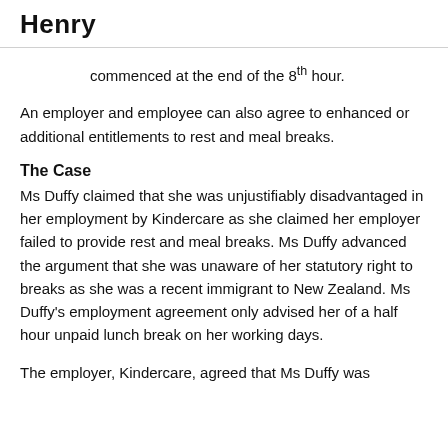Henry
commenced at the end of the 8th hour.
An employer and employee can also agree to enhanced or additional entitlements to rest and meal breaks.
The Case
Ms Duffy claimed that she was unjustifiably disadvantaged in her employment by Kindercare as she claimed her employer failed to provide rest and meal breaks. Ms Duffy advanced the argument that she was unaware of her statutory right to breaks as she was a recent immigrant to New Zealand. Ms Duffy's employment agreement only advised her of a half hour unpaid lunch break on her working days.
The employer, Kindercare, agreed that Ms Duffy was